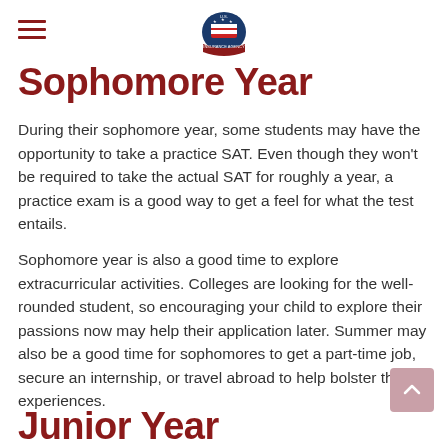U.S. Insurance Agency logo with hamburger menu
Sophomore Year
During their sophomore year, some students may have the opportunity to take a practice SAT. Even though they won't be required to take the actual SAT for roughly a year, a practice exam is a good way to get a feel for what the test entails.
Sophomore year is also a good time to explore extracurricular activities. Colleges are looking for the well-rounded student, so encouraging your child to explore their passions now may help their application later. Summer may also be a good time for sophomores to get a part-time job, secure an internship, or travel abroad to help bolster their experiences.
Junior Year